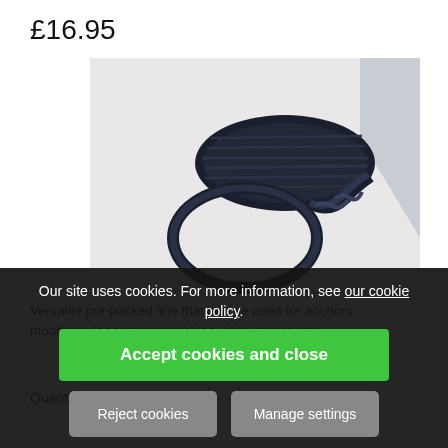£16.95
[Figure (photo): A coiled black braided rope with a loop at one end, displayed on a white surface.]
Versatile pre-packed line that can be used for anchors, moorings, fendering or docking. Ideal for stowing
Quantity:
1
Our site uses cookies. For more information, see our cookie policy.
Accept cookies and close
Reject cookies
Manage settings